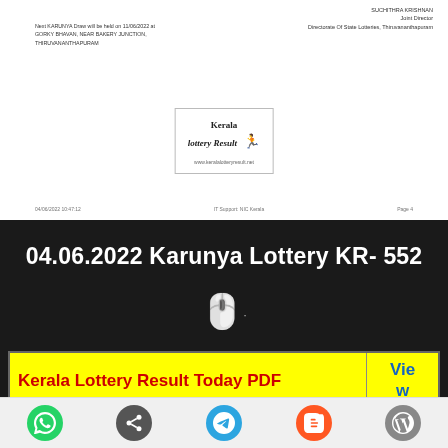[Figure (screenshot): Partial document preview showing footer of Kerala Lottery Karunya result PDF with logo, next draw notice, and page footer]
04.06.2022 Karunya Lottery KR- 552
[Figure (illustration): Hand cursor / pointer icon emoji]
| Kerala Lottery Result Today PDF | View |
| --- | --- |
| Karunya (KR-552) 04/06/2022 | View |
| Nirmal (NR-279) 03/06/2022 | View |
[Figure (screenshot): Mobile app share bar with icons: WhatsApp, Share, Telegram, Blogger, WordPress]